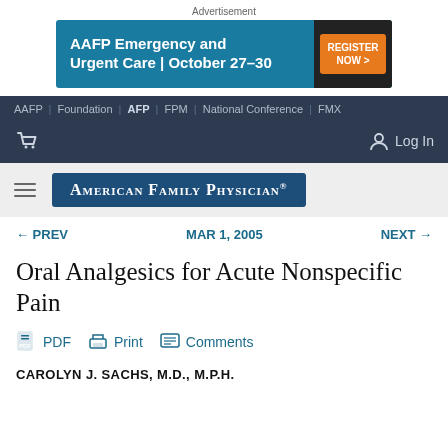Advertisement
[Figure (other): AAFP Emergency and Urgent Care | October 27-30 banner ad with orange REGISTER NOW button]
AAFP | Foundation | AFP | FPM | National Conference | FMX
[Figure (logo): American Family Physician logo on dark navy navigation bar with cart icon and Log In]
[Figure (logo): AMERICAN FAMILY PHYSICIAN logo on gray bar with hamburger menu]
← PREV    MAR 1, 2005    NEXT →
Oral Analgesics for Acute Nonspecific Pain
PDF  Print  Comments
CAROLYN J. SACHS, M.D., M.P.H.